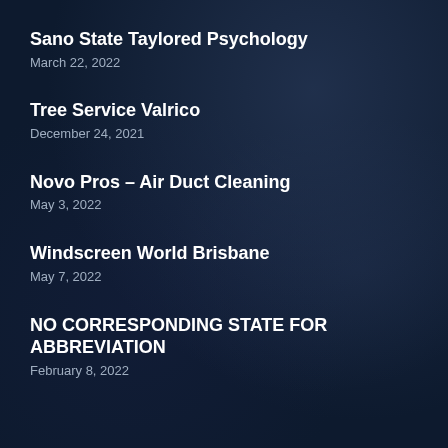Sano State Taylored Psychology
March 22, 2022
Tree Service Valrico
December 24, 2021
Novo Pros – Air Duct Cleaning
May 3, 2022
Windscreen World Brisbane
May 7, 2022
NO CORRESPONDING STATE FOR ABBREVIATION
February 8, 2022